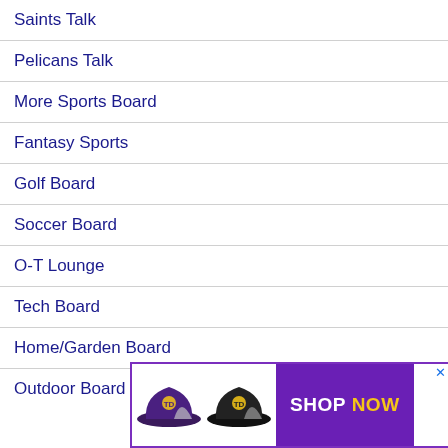Saints Talk
Pelicans Talk
More Sports Board
Fantasy Sports
Golf Board
Soccer Board
O-T Lounge
Tech Board
Home/Garden Board
Outdoor Board
[Figure (infographic): Advertisement banner showing two baseball caps (purple and black with TD logo) and a purple 'SHOP NOW' button with yellow text]